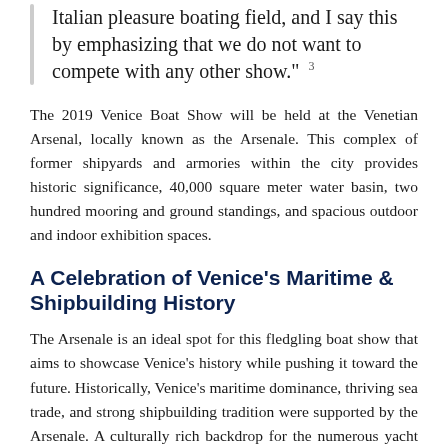Italian pleasure boating field, and I say this by emphasizing that we do not want to compete with any other show." 3
The 2019 Venice Boat Show will be held at the Venetian Arsenal, locally known as the Arsenale. This complex of former shipyards and armories within the city provides historic significance, 40,000 square meter water basin, two hundred mooring and ground standings, and spacious outdoor and indoor exhibition spaces.
A Celebration of Venice's Maritime & Shipbuilding History
The Arsenale is an ideal spot for this fledgling boat show that aims to showcase Venice's history while pushing it toward the future. Historically, Venice's maritime dominance, thriving sea trade, and strong shipbuilding tradition were supported by the Arsenale. A culturally rich backdrop for the numerous yacht builders, designers, and brokerages that will arrive in the city this summer.